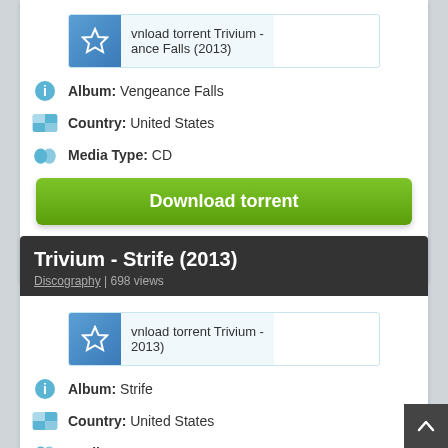[Figure (screenshot): Download torrent button/preview for Trivium - Vengeance Falls (2013) with star icon]
Album: Vengeance Falls
Country: United States
Media Type: CD
Download torrent
Metalcore Thrash Metal
Trivium - Strife (2013)
Discography | 698 views
[Figure (screenshot): Download torrent button/preview for Trivium - Strife (2013) with star icon]
Album: Strife
Country: United States
Media Type: CD
Download torrent